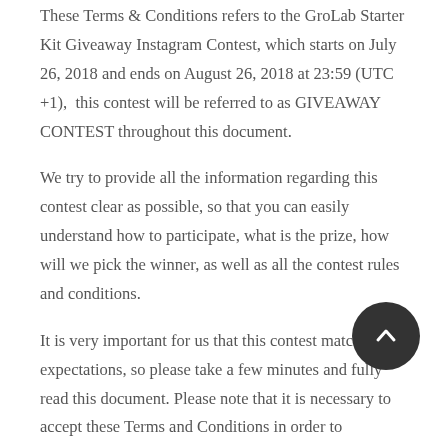These Terms & Conditions refers to the GroLab Starter Kit Giveaway Instagram Contest, which starts on July 26, 2018 and ends on August 26, 2018 at 23:59 (UTC +1),  this contest will be referred to as GIVEAWAY CONTEST throughout this document.
We try to provide all the information regarding this contest clear as possible, so that you can easily understand how to participate, what is the prize, how will we pick the winner, as well as all the contest rules and conditions.
It is very important for us that this contest match your expectations, so please take a few minutes and fully read this document. Please note that it is necessary to accept these Terms and Conditions in order to participate.
1. Contest Promoter